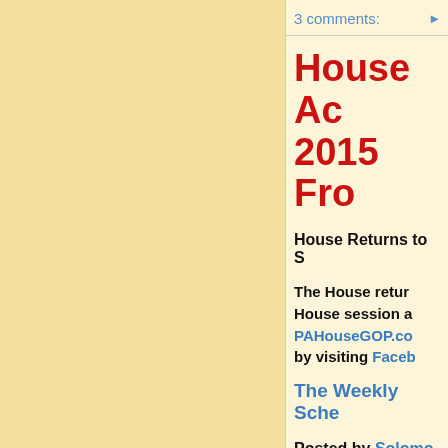3 comments:
House Ac 2015 Fro
House Returns to S
The House retur House session a PAHouseGOP.co by visiting Faceb
The Weekly Sche
Posted by Solomo